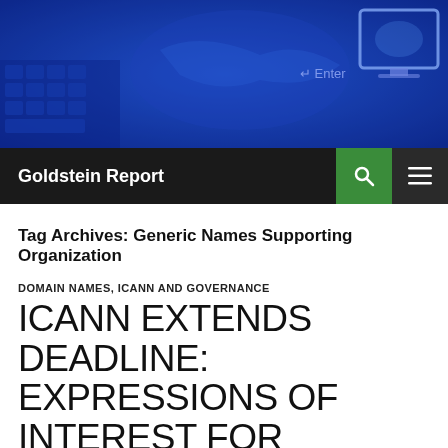[Figure (photo): Website header banner with blue-tinted image of keyboard, world map, and computer monitor]
Goldstein Report
Tag Archives: Generic Names Supporting Organization
DOMAIN NAMES, ICANN AND GOVERNANCE
ICANN EXTENDS DEADLINE: EXPRESSIONS OF INTEREST FOR REGISTRATION DATA ACCURACY SCORING TEAM